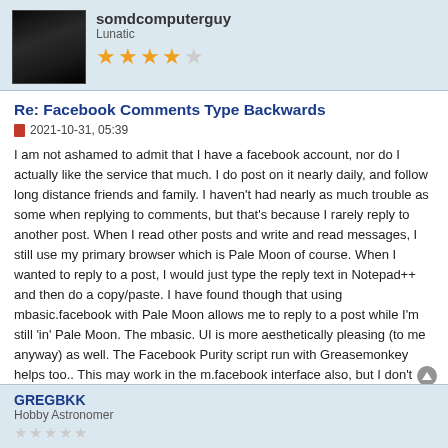somdcomputerguy
Lunatic
3.5 stars
Re: Facebook Comments Type Backwards
2021-10-31, 05:39
I am not ashamed to admit that I have a facebook account, nor do I actually like the service that much. I do post on it nearly daily, and follow long distance friends and family. I haven't had nearly as much trouble as some when replying to comments, but that's because I rarely reply to another post. When I read other posts and write and read messages, I still use my primary browser which is Pale Moon of course. When I wanted to reply to a post, I would just type the reply text in Notepad++ and then do a copy/paste. I have found though that using mbasic.facebook with Pale Moon allows me to reply to a post while I'm still 'in' Pale Moon. The mbasic. UI is more aesthetically pleasing (to me anyway) as well. The Facebook Purity script run with Greasemonkey helps too.. This may work in the m.facebook interface also, but I don't know for sure.
-bruce /* somdcomputerguy.com */
'If you change the way you look at things, the things you look at change.'
GREGBKK
Hobby Astronomer